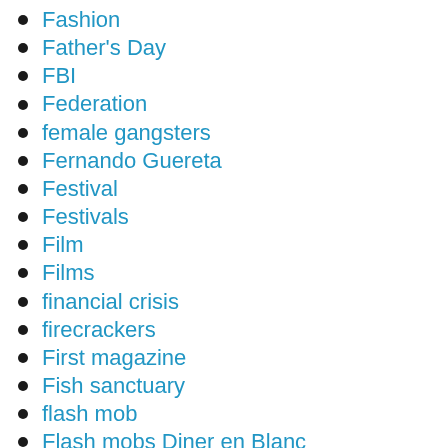Fashion
Father's Day
FBI
Federation
female gangsters
Fernando Guereta
Festival
Festivals
Film
Films
financial crisis
firecrackers
First magazine
Fish sanctuary
flash mob
Flash mobs Diner en Blanc